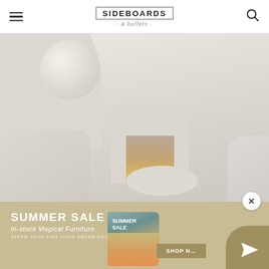SIDEBOARDS & buffets
[Figure (photo): Minimalist white living room interior with rounded arch wall, globe pendant, white bouclé armchair, round white coffee table, and lit square fireplace]
[Figure (infographic): Summer Sale promotional banner with text 'SUMMER SALE In-stock Magical Furniture OFFER YOUR KIDS THEIR DREAM ROOM', a book/catalog image, a SHOP NOW button, and a paper plane send button]